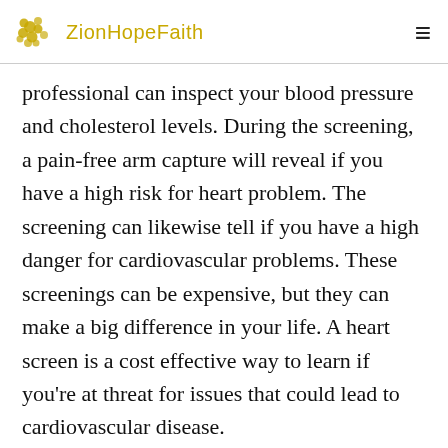ZionHopeFaith
professional can inspect your blood pressure and cholesterol levels. During the screening, a pain-free arm capture will reveal if you have a high risk for heart problem. The screening can likewise tell if you have a high danger for cardiovascular problems. These screenings can be expensive, but they can make a big difference in your life. A heart screen is a cost effective way to learn if you're at threat for issues that could lead to cardiovascular disease.